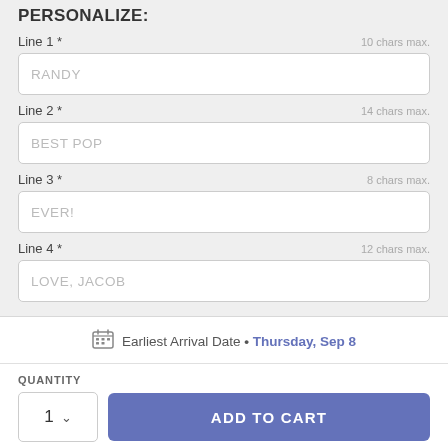PERSONALIZE:
Line 1 * — 10 chars max.
RANDY
Line 2 * — 14 chars max.
BEST POP
Line 3 * — 8 chars max.
EVER!
Line 4 * — 12 chars max.
LOVE, JACOB
Earliest Arrival Date • Thursday, Sep 8
QUANTITY
1
ADD TO CART